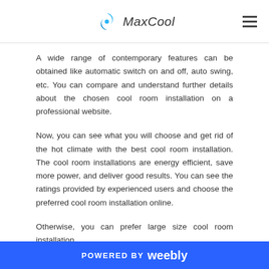MaxCool
A wide range of contemporary features can be obtained like automatic switch on and off, auto swing, etc. You can compare and understand further details about the chosen cool room installation on a professional website.
Now, you can see what you will choose and get rid of the hot climate with the best cool room installation. The cool room installations are energy efficient, save more power, and deliver good results. You can see the ratings provided by experienced users and choose the preferred cool room installation online.
Otherwise, you can prefer large size cool room installation...
POWERED BY weebly